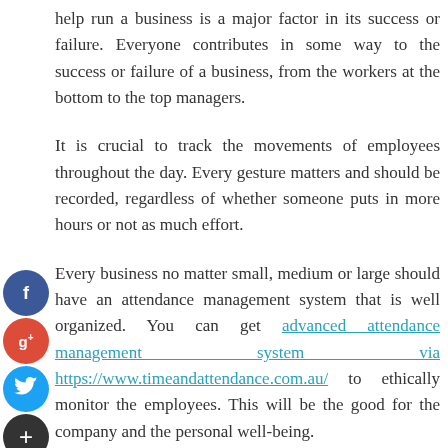help run a business is a major factor in its success or failure. Everyone contributes in some way to the success or failure of a business, from the workers at the bottom to the top managers.
It is crucial to track the movements of employees throughout the day. Every gesture matters and should be recorded, regardless of whether someone puts in more hours or not as much effort.
Every business no matter small, medium or large should have an attendance management system that is well organized. You can get advanced attendance management system via https://www.timeandattendance.com.au/ to ethically monitor the employees. This will be the good for the company and the personal well-being.